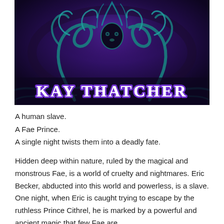[Figure (illustration): Dark fantasy book cover with deep purple and teal colors. A mystical deer or stag-like creature with antlers made of swirling vines and tendrils is depicted in teal/turquoise against a dark purple background with intricate floral and organic patterns. At the bottom of the cover in large bold white letters with purple glow is 'KAY THATCHER'.]
A human slave.
A Fae Prince.
A single night twists them into a deadly fate.
Hidden deep within nature, ruled by the magical and monstrous Fae, is a world of cruelty and nightmares. Eric Becker, abducted into this world and powerless, is a slave. One night, when Eric is caught trying to escape by the ruthless Prince Cithrel, he is marked by a powerful and ancient magic that few Fae are